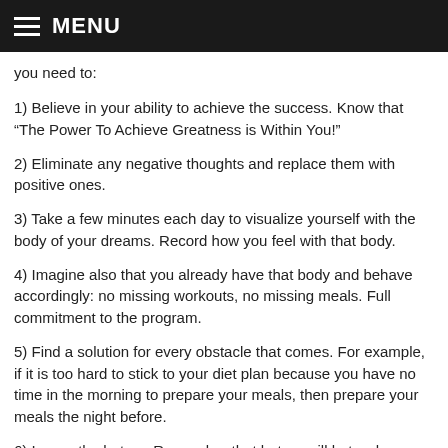MENU
you need to:
1) Believe in your ability to achieve the success. Know that “The Power To Achieve Greatness is Within You!”
2) Eliminate any negative thoughts and replace them with positive ones.
3) Take a few minutes each day to visualize yourself with the body of your dreams. Record how you feel with that body.
4) Imagine also that you already have that body and behave accordingly: no missing workouts, no missing meals. Full commitment to the program.
5) Find a solution for every obstacle that comes. For example, if it is too hard to stick to your diet plan because you have no time in the morning to prepare your meals, then prepare your meals the night before.
6) Ignore the haters. Remember that haters will hate when you are doing something right!
7) Ignore your own negative thoughts and replace them with